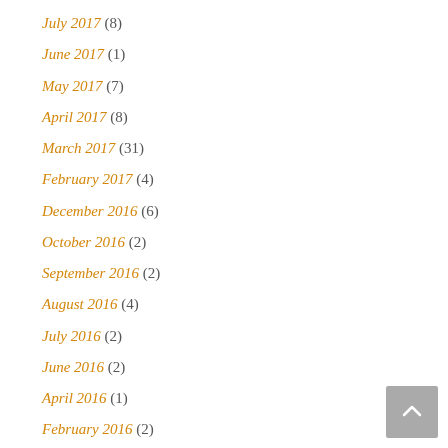July 2017 (8)
June 2017 (1)
May 2017 (7)
April 2017 (8)
March 2017 (31)
February 2017 (4)
December 2016 (6)
October 2016 (2)
September 2016 (2)
August 2016 (4)
July 2016 (2)
June 2016 (2)
April 2016 (1)
February 2016 (2)
January 2016 (3)